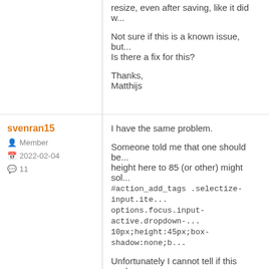resize, even after saving, like it did w...
Not sure if this is a known issue, but...
Is there a fix for this?
Thanks,
Matthijs
svenran15
Member
2022-02-04
11
I have the same problem.
Someone told me that one should be... height here to 85 (or other) might sol... #action_add_tags .selectize-input.ite... options.focus.input-active.dropdown-... 10px;height:45px;box-shadow:none;b...
Unfortunately I cannot tell if this work... change the css and this doesnt work...
I would really appreciate some help!